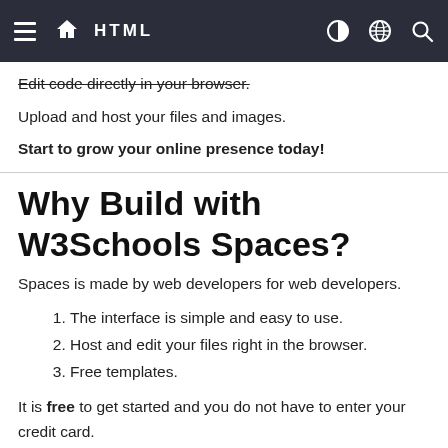HTML
Edit code directly in your browser.
Upload and host your files and images.
Start to grow your online presence today!
Why Build with W3Schools Spaces?
Spaces is made by web developers for web developers.
The interface is simple and easy to use.
Host and edit your files right in the browser.
Free templates.
It is free to get started and you do not have to enter your credit card.